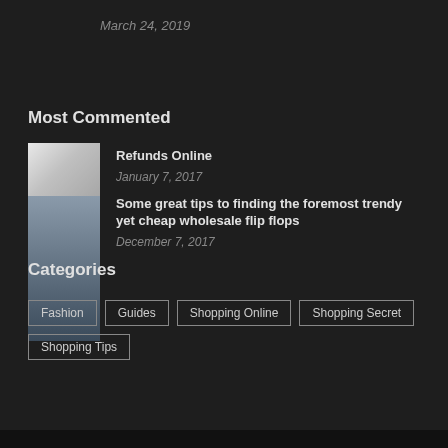March 24, 2019
Most Commented
[Figure (photo): Thumbnail image for article about refunds online]
Refunds Online
January 7, 2017
[Figure (photo): Thumbnail image for article about flip flops]
Some great tips to finding the foremost trendy yet cheap wholesale flip flops
December 7, 2017
Categories
Fashion
Guides
Shopping Online
Shopping Secret
Shopping Tips